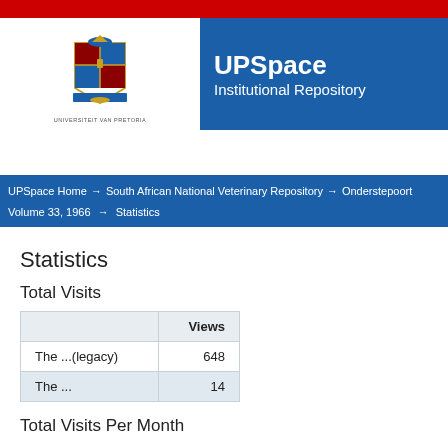[Figure (logo): UPSpace Institutional Repository header banner with University of Pretoria crest and blue title box]
UPSpace Home → South African National Veterinary Repository → Onderstepoort Volume 33, 1966 → Statistics
Statistics
Total Visits
|  | Views |
| --- | --- |
| The ...(legacy) | 648 |
| The ... | 14 |
Total Visits Per Month